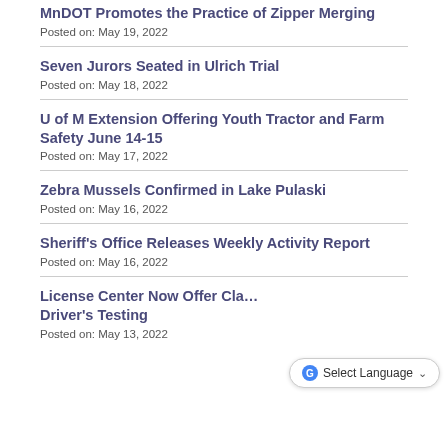MnDOT Promotes the Practice of Zipper Merging
Posted on: May 19, 2022
Seven Jurors Seated in Ulrich Trial
Posted on: May 18, 2022
U of M Extension Offering Youth Tractor and Farm Safety June 14-15
Posted on: May 17, 2022
Zebra Mussels Confirmed in Lake Pulaski
Posted on: May 16, 2022
Sheriff's Office Releases Weekly Activity Report
Posted on: May 16, 2022
License Center Now Offer Cla… Driver's Testing
Posted on: May 13, 2022